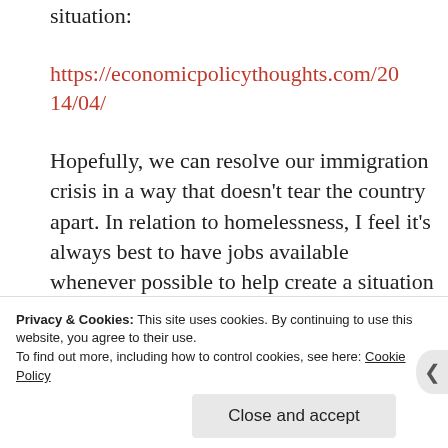situation:
https://economicpolicythoughts.com/2014/04/
Hopefully, we can resolve our immigration crisis in a way that doesn’t tear the country apart. In relation to homelessness, I feel it’s always best to have jobs available whenever possible to help create a situation where more people can become self-sufficient. In addition we need to address better the drug situation + realize that some of the
Privacy & Cookies: This site uses cookies. By continuing to use this website, you agree to their use.
To find out more, including how to control cookies, see here: Cookie Policy
Close and accept